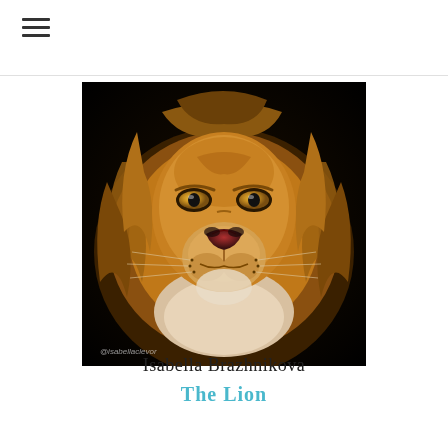[Figure (illustration): Close-up painting/illustration of a male lion's face with rich golden-brown mane, amber eyes, dark nose, and whiskers. Watermark '@isabellaclevor' in bottom-left corner.]
Isabella Brazhnikova
The Lion